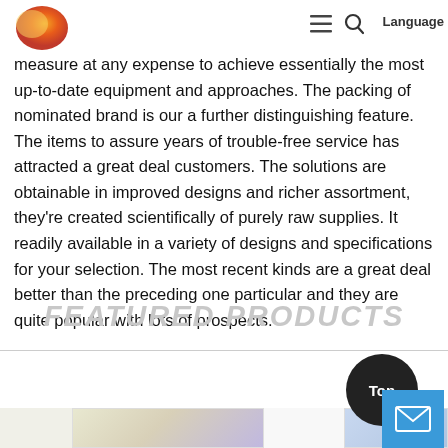Language
measure at any expense to achieve essentially the most up-to-date equipment and approaches. The packing of nominated brand is our a further distinguishing feature. The items to assure years of trouble-free service has attracted a great deal customers. The solutions are obtainable in improved designs and richer assortment, they're created scientifically of purely raw supplies. It readily available in a variety of designs and specifications for your selection. The most recent kinds are a great deal better than the preceding one particular and they are quite popular with lots of prospects.
FEATURED PRODUCTS
[Figure (photo): Product images strip showing two product photos at the bottom of the page]